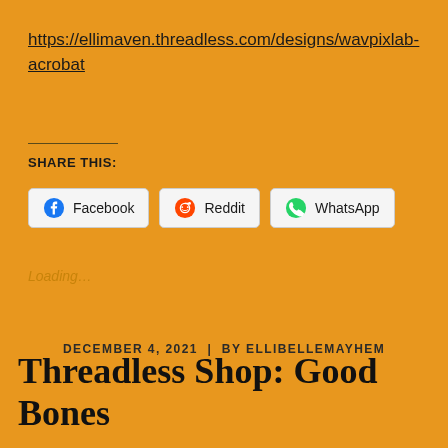https://ellimaven.threadless.com/designs/wavpixlab-acrobat
SHARE THIS:
Facebook  Reddit  WhatsApp
Loading...
DECEMBER 4, 2021  |  BY ELLIBELLEMAYHEM
Threadless Shop: Good Bones